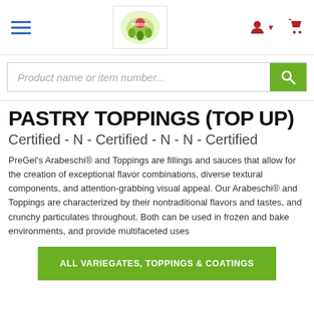[Figure (logo): PreGel website navigation bar with hamburger menu, logo, user icon, and cart icon]
[Figure (screenshot): Search bar with placeholder text 'Product name or item number...' and a green search button]
PASTRY TOPPINGS (TOP UP)
Certified - N - Certified - N - N - Certified
PreGel's Arabeschi® and Toppings are fillings and sauces that allow for the creation of exceptional flavor combinations, diverse textural components, and attention-grabbing visual appeal. Our Arabeschi® and Toppings are characterized by their nontraditional flavors and tastes, and crunchy particulates throughout. Both can be used in frozen and bake environments, and provide multifaceted uses
ALL VARIEGATES, TOPPINGS & COATINGS